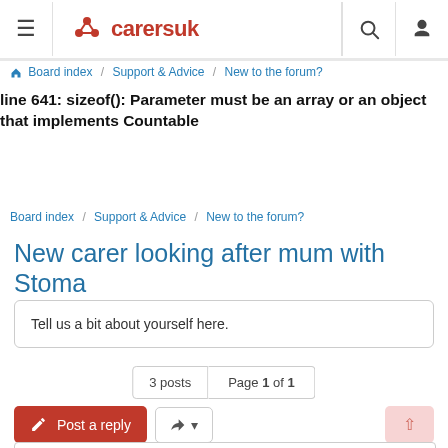carersuk — Board index / Support & Advice / New to the forum?
line 641: sizeof(): Parameter must be an array or an object that implements Countable
Board index / Support & Advice / New to the forum?
New carer looking after mum with Stoma
Tell us a bit about yourself here.
3 posts   Page 1 of 1
Post a reply